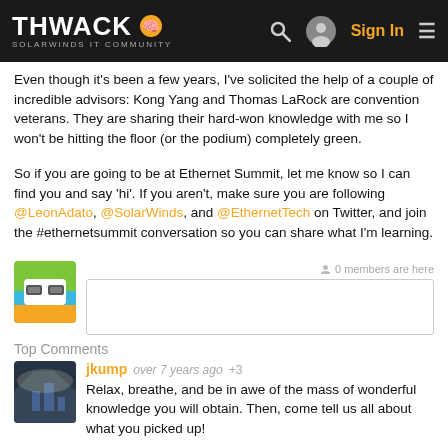THWACK SOLARWINDS IT COMMUNITY — Sign In
Even though it's been a few years, I've solicited the help of a couple of incredible advisors: Kong Yang and Thomas LaRock are convention veterans. They are sharing their hard-won knowledge with me so I won't be hitting the floor (or the podium) completely green.
So if you are going to be at Ethernet Summit, let me know so I can find you and say 'hi'. If you aren't, make sure you are following @LeonAdato, @SolarWinds, and @EthernetTech on Twitter, and join the #ethernetsummit conversation so you can share what I'm learning.
[Figure (screenshot): Comment input box with user avatar (cartoon sunglasses character) and 0 members are here indicator]
Top Comments
[Figure (photo): Comment avatar showing a cityscape silhouette graphic]
jkump over 7 years ago +3 — Relax, breathe, and be in awe of the mass of wonderful knowledge you will obtain. Then, come tell us all about what you picked up!